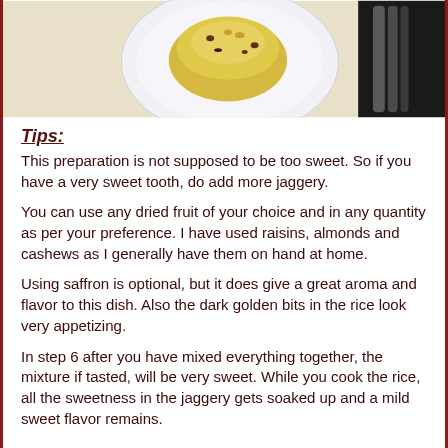[Figure (photo): A photo showing a plate with a mound of jaggery rice garnished with nuts/raisins, with a spoon visible on the right side, against a light background.]
Tips:
This preparation is not supposed to be too sweet. So if you have a very sweet tooth, do add more jaggery.
You can use any dried fruit of your choice and in any quantity as per your preference. I have used raisins, almonds and cashews as I generally have them on hand at home.
Using saffron is optional, but it does give a great aroma and flavor to this dish. Also the dark golden bits in the rice look very appetizing.
In step 6 after you have mixed everything together, the mixture if tasted, will be very sweet. While you cook the rice, all the sweetness in the jaggery gets soaked up and a mild sweet flavor remains.